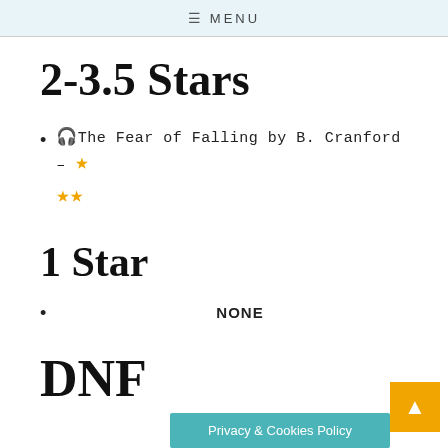≡ MENU
2-3.5 Stars
🎧The Fear of Falling by B. Cranford – ★★★
1 Star
NONE
DNF
Privacy & Cookies Policy